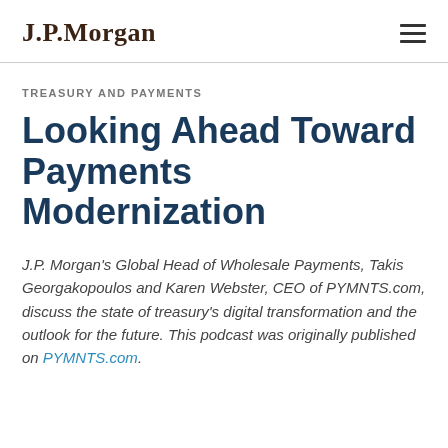J.P.Morgan
TREASURY AND PAYMENTS
Looking Ahead Toward Payments Modernization
J.P. Morgan's Global Head of Wholesale Payments, Takis Georgakopoulos and Karen Webster, CEO of PYMNTS.com, discuss the state of treasury's digital transformation and the outlook for the future. This podcast was originally published on PYMNTS.com.